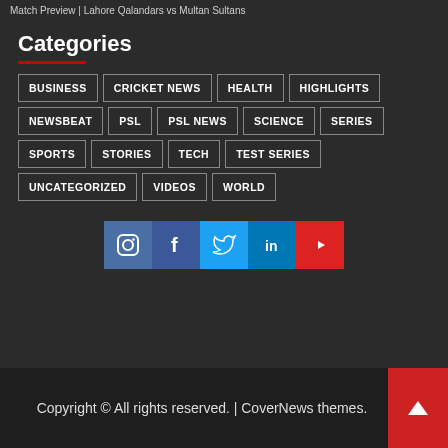Match Preview | Lahore Qalandars vs Multan Sultans
Categories
BUSINESS
CRICKET NEWS
HEALTH
HIGHLIGHTS
NEWSBEAT
PSL
PSL NEWS
SCIENCE
SERIES
SPORTS
STORIES
TECH
TEST SERIES
UNCATEGORIZED
VIDEOS
WORLD
[Figure (infographic): Social media icons: Instagram, Facebook, Twitter, LinkedIn, YouTube]
Copyright © All rights reserved. | CoverNews themes.